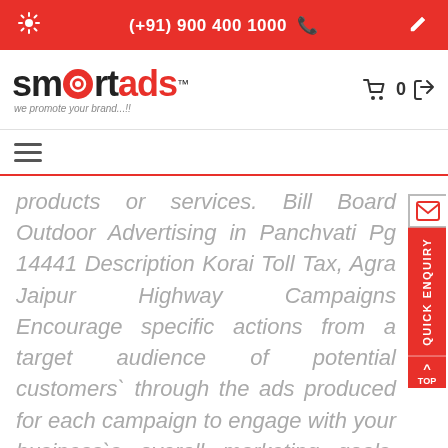(+91) 900 400 1000
[Figure (logo): SmartAds logo with red circle and tagline 'we promote your brand...!!']
products or services. Bill Board Outdoor Advertising in Panchvati Pg 14441 Description Korai Toll Tax, Agra Jaipur Highway Campaigns Encourage specific actions from a target audience of potential customers` through the ads produced for each campaign to engage with your business`s overall marketing goals. Different types of Bill Board Outdoor Advertisements in Panchvati Pg 14441 have proved